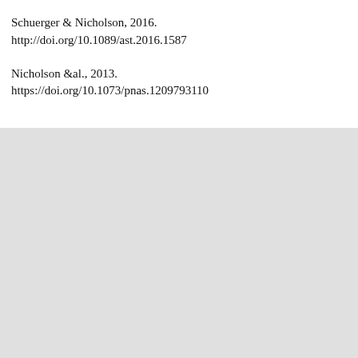Schuerger & Nicholson, 2016.
http://doi.org/10.1089/ast.2016.1587
Nicholson &al., 2013.
https://doi.org/10.1073/pnas.1209793110